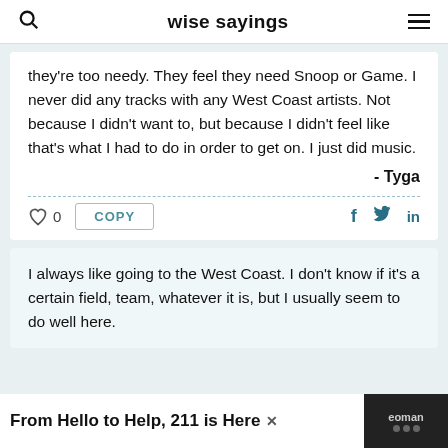wise sayings
they're too needy. They feel they need Snoop or Game. I never did any tracks with any West Coast artists. Not because I didn't want to, but because I didn't feel like that's what I had to do in order to get on. I just did music.
- Tyga
I always like going to the West Coast. I don't know if it's a certain field, team, whatever it is, but I usually seem to do well here.
From Hello to Help, 211 is Here